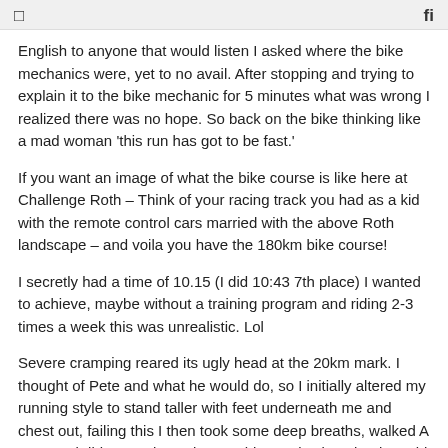☐  fi
English to anyone that would listen I asked where the bike mechanics were, yet to no avail. After stopping and trying to explain it to the bike mechanic for 5 minutes what was wrong I realized there was no hope. So back on the bike thinking like a mad woman 'this run has got to be fast.'
If you want an image of what the bike course is like here at Challenge Roth – Think of your racing track you had as a kid with the remote control cars married with the above Roth landscape – and voila you have the 180km bike course!
I secretly had a time of 10.15 (I did 10:43 7th place) I wanted to achieve, maybe without a training program and riding 2-3 times a week this was unrealistic. Lol
Severe cramping reared its ugly head at the 20km mark. I thought of Pete and what he would do, so I initially altered my running style to stand taller with feet underneath me and chest out, failing this I then took some deep breaths, walked A LOT, and did some dynamic stretching. I also imagined a gold healing wave sweeping down my body and...